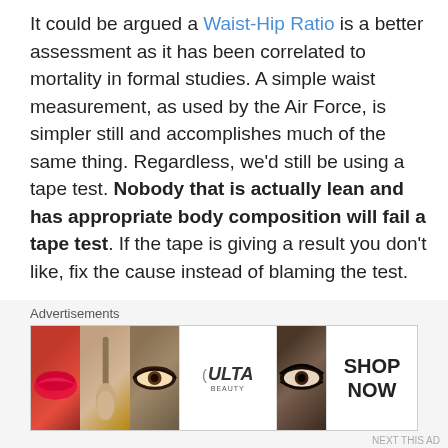It could be argued a Waist-Hip Ratio is a better assessment as it has been correlated to mortality in formal studies. A simple waist measurement, as used by the Air Force, is simpler still and accomplishes much of the same thing. Regardless, we'd still be using a tape test. Nobody that is actually lean and has appropriate body composition will fail a tape test. If the tape is giving a result you don't like, fix the cause instead of blaming the test.
For more information on the background of body composition assessments in the military, go to Google Scholar and enter the names of Dr. J.A. Hodgdon, Dr. J.A.
[Figure (other): Ulta Beauty advertisement banner showing makeup imagery — close-up of red lips, makeup brush, eye with dramatic makeup, Ulta Beauty logo, another eye with dark makeup, and SHOP NOW text]